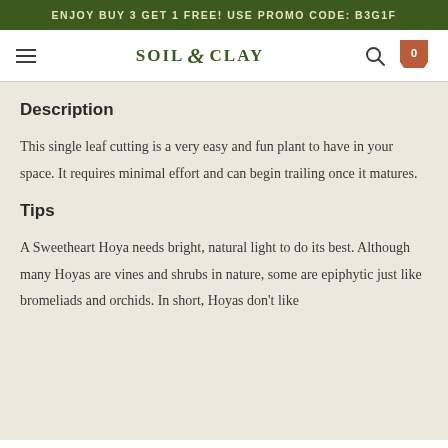ENJOY BUY 3 GET 1 FREE! USE PROMO CODE: B3G1F
[Figure (screenshot): Soil & Clay website navigation bar with hamburger menu, logo, search icon, and cart showing 0 items]
Description
This single leaf cutting is a very easy and fun plant to have in your space. It requires minimal effort and can begin trailing once it matures.
Tips
A Sweetheart Hoya needs bright, natural light to do its best. Although many Hoyas are vines and shrubs in nature, some are epiphytic just like bromeliads and orchids. In short, Hoyas don't like